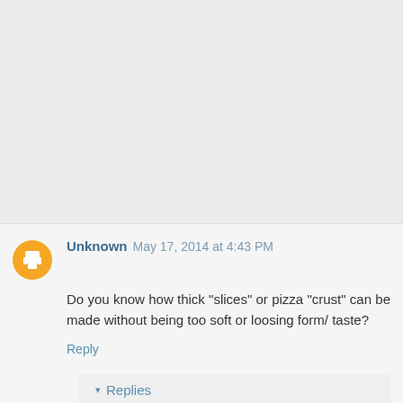[Figure (other): Gray empty area at top of page, likely an image placeholder or advertisement space]
Unknown May 17, 2014 at 4:43 PM
Do you know how thick "slices" or pizza "crust" can be made without being too soft or loosing form/ taste?
Reply
Replies